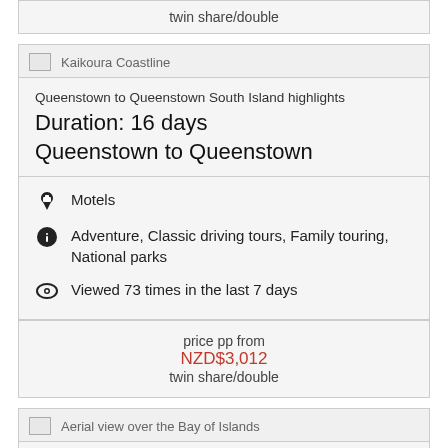twin share/double
[Figure (photo): Kaikoura Coastline thumbnail image]
Queenstown to Queenstown South Island highlights
Duration: 16 days
Queenstown to Queenstown
Motels
Adventure, Classic driving tours, Family touring, National parks
Viewed 73 times in the last 7 days
price pp from
NZD$3,012
twin share/double
[Figure (photo): Aerial view over the Bay of Islands thumbnail image]
Auckland to Christchurch 17 Day Highlights tour
Duration: 17 days